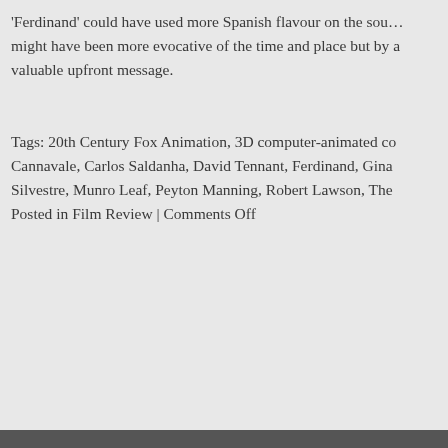'Ferdinand' could have used more Spanish flavour on the soundtrack; might have been more evocative of the time and place but by a valuable upfront message.
Tags: 20th Century Fox Animation, 3D computer-animated co… Cannavale, Carlos Saldanha, David Tennant, Ferdinand, Gina … Silvestre, Munro Leaf, Peyton Manning, Robert Lawson, The … Posted in Film Review | Comments Off